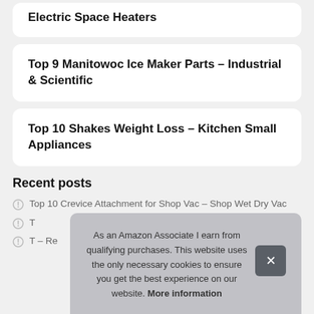Electric Space Heaters
Top 9 Manitowoc Ice Maker Parts – Industrial & Scientific
Top 10 Shakes Weight Loss – Kitchen Small Appliances
Recent posts
Top 10 Crevice Attachment for Shop Vac – Shop Wet Dry Vac
T
T – Re
As an Amazon Associate I earn from qualifying purchases. This website uses the only necessary cookies to ensure you get the best experience on our website. More information